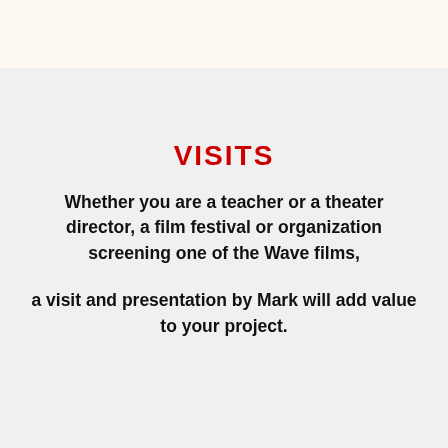VISITS
Whether you are a teacher or a theater director, a film festival or organization screening one of the Wave films,
a visit and presentation by Mark will add value to your project.